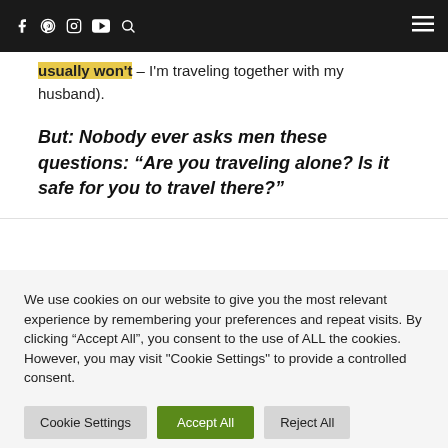Social media icons: Facebook, Pinterest, Instagram, YouTube, Search, Hamburger menu
usually won't – I'm traveling together with my husband).
But: Nobody ever asks men these questions: “Are you traveling alone? Is it safe for you to travel there?”
We use cookies on our website to give you the most relevant experience by remembering your preferences and repeat visits. By clicking “Accept All”, you consent to the use of ALL the cookies. However, you may visit "Cookie Settings" to provide a controlled consent.